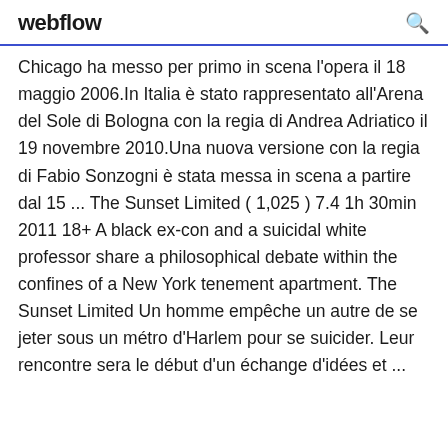webflow
Chicago ha messo per primo in scena l'opera il 18 maggio 2006.In Italia è stato rappresentato all'Arena del Sole di Bologna con la regia di Andrea Adriatico il 19 novembre 2010.Una nuova versione con la regia di Fabio Sonzogni è stata messa in scena a partire dal 15 ... The Sunset Limited ( 1,025 ) 7.4 1h 30min 2011 18+ A black ex-con and a suicidal white professor share a philosophical debate within the confines of a New York tenement apartment. The Sunset Limited Un homme empêche un autre de se jeter sous un métro d'Harlem pour se suicider. Leur rencontre sera le début d'un échange d'idées et ...